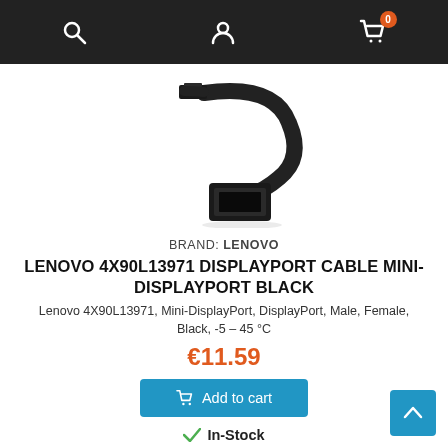Navigation bar with search, account, and cart (0 items) icons
[Figure (photo): Black Mini-DisplayPort to DisplayPort adapter cable by Lenovo, male mini-DP connector on one end, female DP port on other end, short black cable]
BRAND: LENOVO
LENOVO 4X90L13971 DISPLAYPORT CABLE MINI-DISPLAYPORT BLACK
Lenovo 4X90L13971, Mini-DisplayPort, DisplayPort, Male, Female, Black, -5 – 45 °C
€11.59
Add to cart
In-Stock